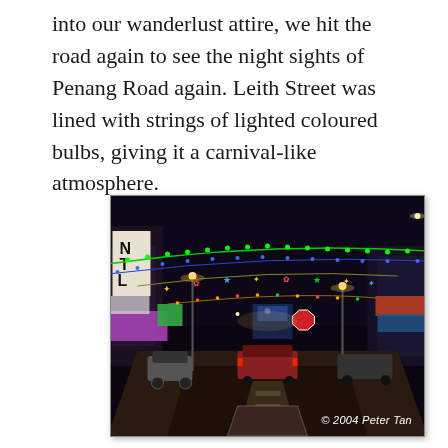into our wanderlust attire, we hit the road again to see the night sights of Penang Road again. Leith Street was lined with strings of lighted coloured bulbs, giving it a carnival-like atmosphere.
[Figure (photo): Night photograph of Leith Street in Penang decorated with strings of coloured lights and decorative bulbs strung across the road, giving a carnival-like atmosphere. Buildings and street signs visible on either side, with traffic and motorbikes on the road. Copyright 2004 Peter Tan.]